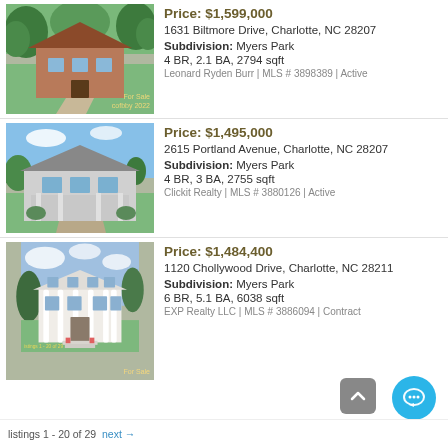[Figure (photo): Exterior photo of a brick house with green trees and a driveway, For Sale]
Price: $1,599,000
1631 Biltmore Drive, Charlotte, NC 28207
Subdivision: Myers Park
4 BR, 2.1 BA, 2794 sqft
Leonard Ryden Burr | MLS # 3898389 | Active
[Figure (photo): Exterior photo of a gray bungalow-style house with landscaping]
Price: $1,495,000
2615 Portland Avenue, Charlotte, NC 28207
Subdivision: Myers Park
4 BR, 3 BA, 2755 sqft
Clickit Realty | MLS # 3880126 | Active
[Figure (photo): Exterior photo of a large white colonial mansion with columns and green lawn, For Sale]
Price: $1,484,400
1120 Chollywood Drive, Charlotte, NC 28211
Subdivision: Myers Park
6 BR, 5.1 BA, 6038 sqft
EXP Realty LLC | MLS # 3886094 | Contract
listings 1 - 20 of 29   next →